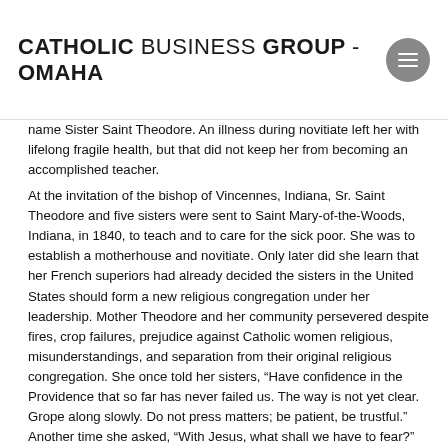CATHOLIC BUSINESS GROUP - OMAHA
name Sister Saint Theodore. An illness during novitiate left her with lifelong fragile health, but that did not keep her from becoming an accomplished teacher. At the invitation of the bishop of Vincennes, Indiana, Sr. Saint Theodore and five sisters were sent to Saint Mary-of-the-Woods, Indiana, in 1840, to teach and to care for the sick poor. She was to establish a motherhouse and novitiate. Only later did she learn that her French superiors had already decided the sisters in the United States should form a new religious congregation under her leadership. Mother Theodore and her community persevered despite fires, crop failures, prejudice against Catholic women religious, misunderstandings, and separation from their original religious congregation. She once told her sisters, “Have confidence in the Providence that so far has never failed us. The way is not yet clear. Grope along slowly. Do not press matters; be patient, be trustful.” Another time she asked, “With Jesus, what shall we have to fear?” Mother Theodore was buried in the Church of the